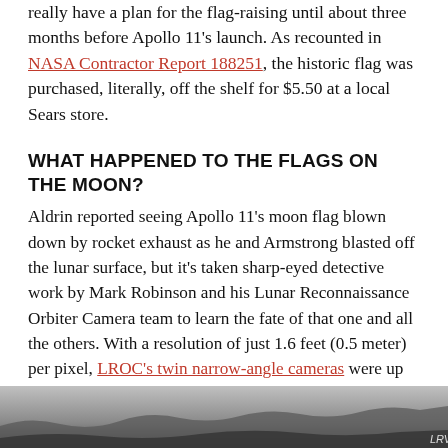really have a plan for the flag-raising until about three months before Apollo 11's launch. As recounted in NASA Contractor Report 188251, the historic flag was purchased, literally, off the shelf for $5.50 at a local Sears store.
WHAT HAPPENED TO THE FLAGS ON THE MOON?
Aldrin reported seeing Apollo 11's moon flag blown down by rocket exhaust as he and Armstrong blasted off the lunar surface, but it's taken sharp-eyed detective work by Mark Robinson and his Lunar Reconnaissance Orbiter Camera team to learn the fate of that one and all the others. With a resolution of just 1.6 feet (0.5 meter) per pixel, LROC's twin narrow-angle cameras were up to the task of recording the landing sites in remarkable detail. "I get flag-picture questions all the time," Robinson tells me, and the cameras record one or two Apollo sites every month as part of what he calls "cartography sanity checks".
[Figure (photo): Bottom portion of a grayscale photograph, partially visible at the bottom of the page, showing what appears to be a lunar surface or related imagery. A label 'LRV' is visible at the bottom right.]